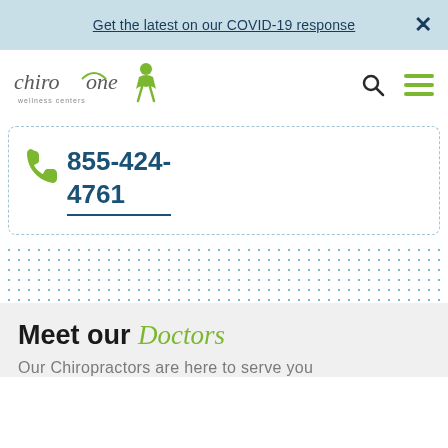Get the latest on our COVID-19 response ×
[Figure (logo): Chiro One Wellness Centers logo with stylized figure and green accent]
855-424-4761
Meet our Doctors
Our Chiropractors are here to serve you